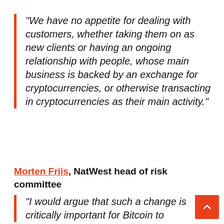“We have no appetite for dealing with customers, whether taking them on as new clients or having an ongoing relationship with people, whose main business is backed by an exchange for cryptocurrencies, or otherwise transacting in cryptocurrencies as their main activity.”
Morten Friis, NatWest head of risk committee
“I would argue that such a change is critically important for Bitcoin to